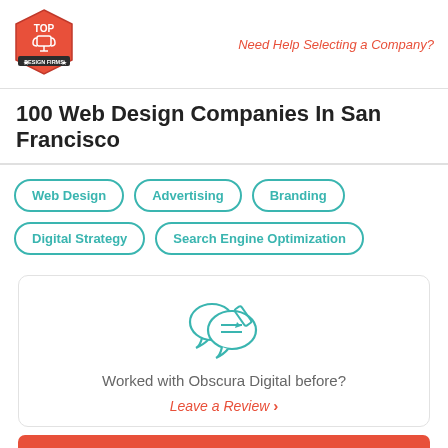[Figure (logo): Top Design Firms red hexagon logo with trophy icon]
Need Help Selecting a Company?
100 Web Design Companies In San Francisco
Web Design
Advertising
Branding
Digital Strategy
Search Engine Optimization
[Figure (illustration): Two speech bubble icons with pencil/lines, teal color, review icon]
Worked with Obscura Digital before?
Leave a Review  >
Visit Site